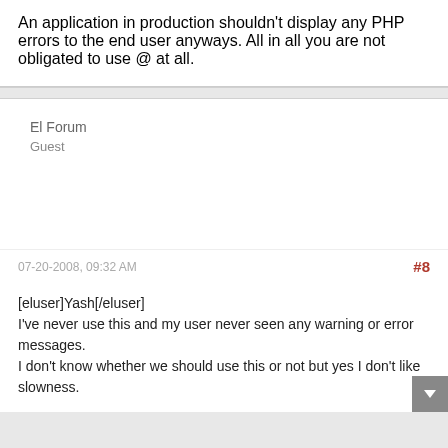An application in production shouldn't display any PHP errors to the end user anyways. All in all you are not obligated to use @ at all.
El Forum
Guest
07-20-2008, 09:32 AM
#8
[eluser]Yash[/eluser]
I've never use this and my user never seen any warning or error messages.
I don't know whether we should use this or not but yes I don't like slowness.